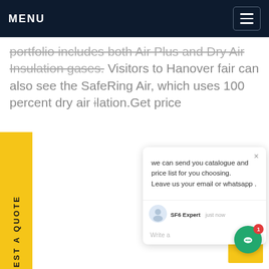MENU
portfolio includes both Air Plus and Dry Air Insulation gases. Visitors to Hanover fair can also see the SafeRing Air, which uses 100 percent dry air insulation.Get price
[Figure (screenshot): Yellow vertical sidebar tab reading REQUEST A QUOTE rotated 90 degrees]
[Figure (screenshot): Chat popup with message: we can send you catalogue and price list for you choosing. Leave us your email or whatsapp . Agent: SF6 Expert, just now. Write a reply area with thumbs up and paperclip icons. Green chat bubble button with badge showing 1.]
[Figure (other): Yellow back-to-top button with upward arrow chevron in bottom right corner]